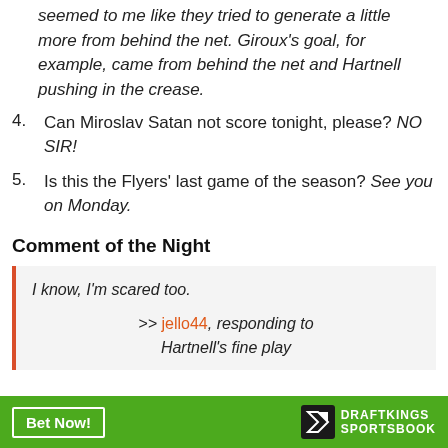seemed to me like they tried to generate a little more from behind the net. Giroux’s goal, for example, came from behind the net and Hartnell pushing in the crease.
4. Can Miroslav Satan not score tonight, please? NO SIR!
5. Is this the Flyers’ last game of the season? See you on Monday.
Comment of the Night
I know, I’m scared too.
>> jello44, responding to Hartnell's fine play
[Figure (other): DraftKings Sportsbook advertisement banner with Bet Now! button and logo]